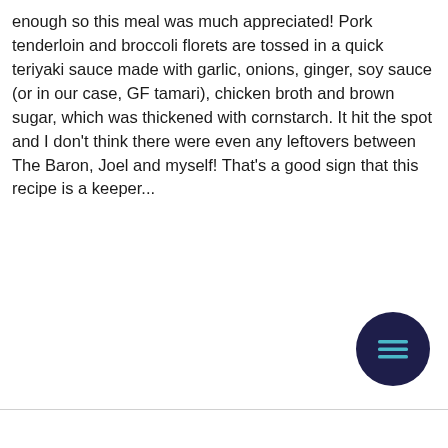enough so this meal was much appreciated! Pork tenderloin and broccoli florets are tossed in a quick teriyaki sauce made with garlic, onions, ginger, soy sauce (or in our case, GF tamari), chicken broth and brown sugar, which was thickened with cornstarch. It hit the spot and I don't think there were even any leftovers between The Baron, Joel and myself! That's a good sign that this recipe is a keeper...
[Figure (other): Dark navy circular menu button icon with three horizontal lines (hamburger menu icon)]